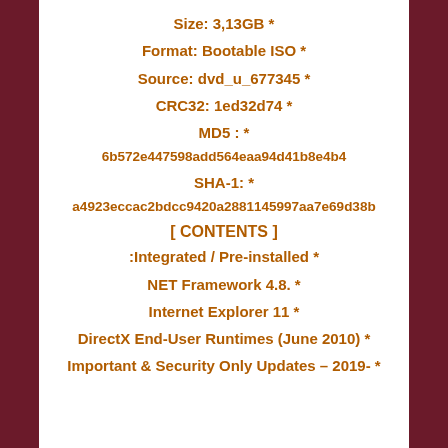Size: 3,13GB *
Format: Bootable ISO *
Source: dvd_u_677345 *
CRC32: 1ed32d74 *
MD5 : *
6b572e447598add564eaa94d41b8e4b4
SHA-1: *
a4923eccac2bdcc9420a2881145997aa7e69d38b
[ CONTENTS ]
:Integrated / Pre-installed *
NET Framework 4.8. *
Internet Explorer 11 *
DirectX End-User Runtimes (June 2010) *
Important & Security Only Updates – 2019- *